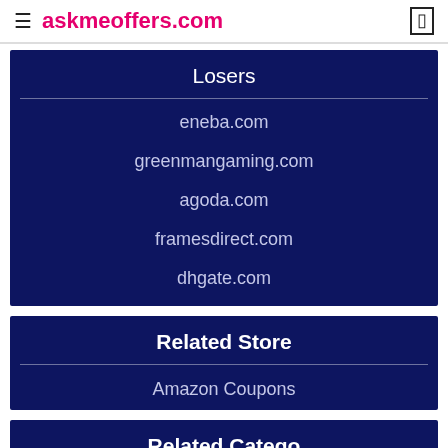≡ askmeoffers.com
Losers
eneba.com
greenmangaming.com
agoda.com
framesdirect.com
dhgate.com
Related Store
Amazon Coupons
Related Categories